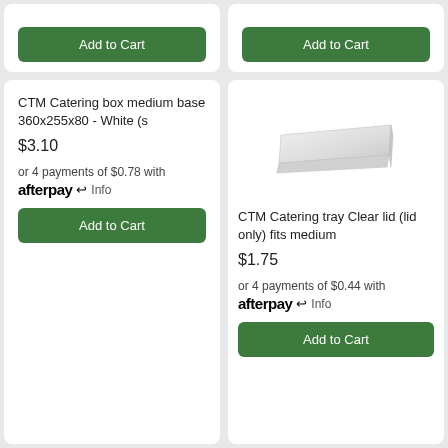[Figure (other): Add to Cart button (top left)]
[Figure (other): Add to Cart button (top right)]
CTM Catering box medium base 360x255x80 - White (s
$3.10
or 4 payments of $0.78 with afterpay Info
[Figure (other): Add to Cart button]
[Figure (photo): Photo of CTM Catering tray clear lid]
CTM Catering tray Clear lid (lid only) fits medium
$1.75
or 4 payments of $0.44 with afterpay Info
[Figure (other): Add to Cart button]